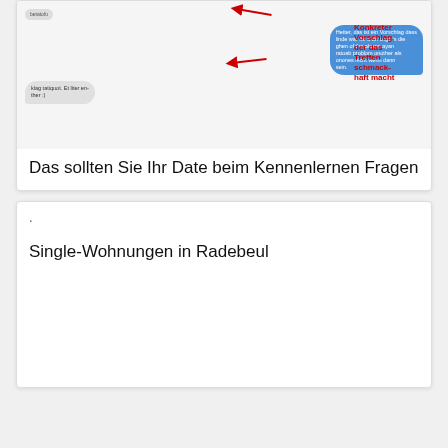[Figure (screenshot): Chat message screenshot with a red arrow pointing to a blue chat bubble and red annotation text reading 'Konkreter Vorschlag, der das Treffen schmackhaft macht']
Das sollten Sie Ihr Date beim Kennenlernen Fragen
.
Single-Wohnungen in Radebeul